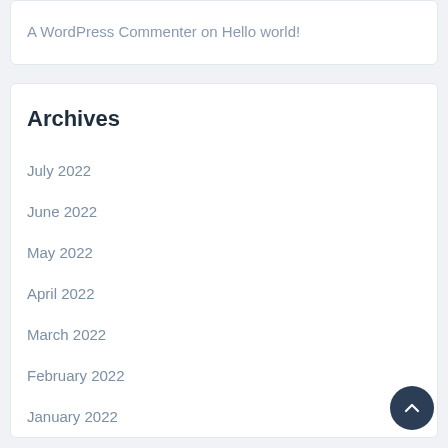A WordPress Commenter on Hello world!
Archives
July 2022
June 2022
May 2022
April 2022
March 2022
February 2022
January 2022